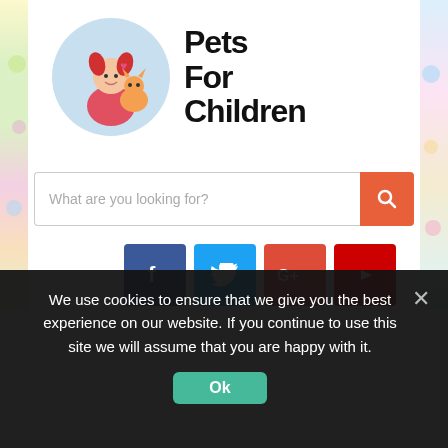[Figure (logo): Pets For Children website logo with a cartoon girl holding a cat in a blue circle, next to handwritten-style text reading 'Pets For Children']
What are you looking for?
[Figure (infographic): Row of four social media icon buttons: Facebook (blue), Twitter (light blue), Google+ (orange-red), YouTube (red)]
We use cookies to ensure that we give you the best experience on our website. If you continue to use this site we will assume that you are happy with it.
Ok